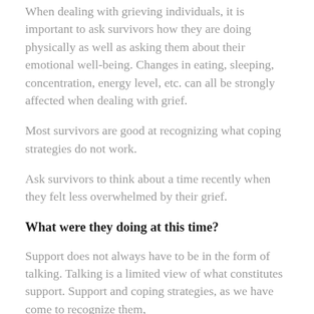When dealing with grieving individuals, it is important to ask survivors how they are doing physically as well as asking them about their emotional well-being. Changes in eating, sleeping, concentration, energy level, etc. can all be strongly affected when dealing with grief.
Most survivors are good at recognizing what coping strategies do not work.
Ask survivors to think about a time recently when they felt less overwhelmed by their grief.
What were they doing at this time?
Support does not always have to be in the form of talking. Talking is a limited view of what constitutes support. Support and coping strategies, as we have come to recognize them,